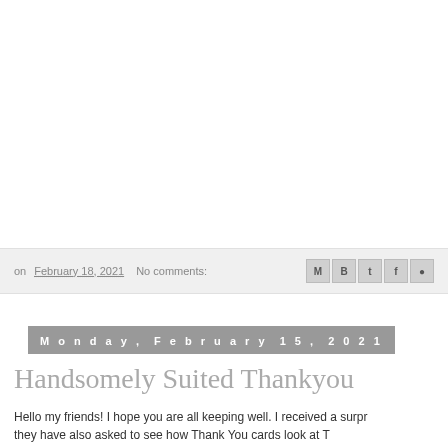on February 18, 2021  No comments
Monday, February 15, 2021
Handsomely Suited Thankyou
Hello my friends! I hope you are all keeping well. I received a surpr…they have also asked to see how Thank You cards look at T…